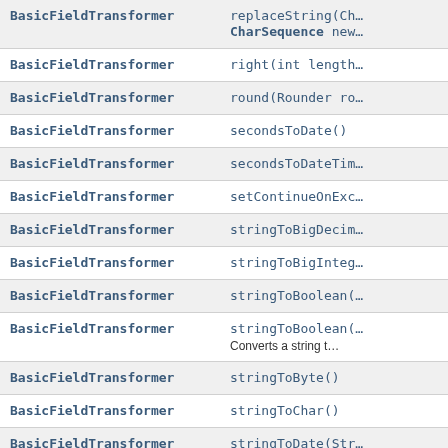| Type | Method/Description |
| --- | --- |
| BasicFieldTransformer | replaceString(Ch… CharSequence new… |
| BasicFieldTransformer | right(int length… |
| BasicFieldTransformer | round(Rounder ro… |
| BasicFieldTransformer | secondsToDate() |
| BasicFieldTransformer | secondsToDateTim… |
| BasicFieldTransformer | setContinueOnExc… |
| BasicFieldTransformer | stringToBigDecim… |
| BasicFieldTransformer | stringToBigInteg… |
| BasicFieldTransformer | stringToBoolean(… |
| BasicFieldTransformer | stringToBoolean(… Converts a string t… |
| BasicFieldTransformer | stringToByte() |
| BasicFieldTransformer | stringToChar() |
| BasicFieldTransformer | stringToDate(Str… |